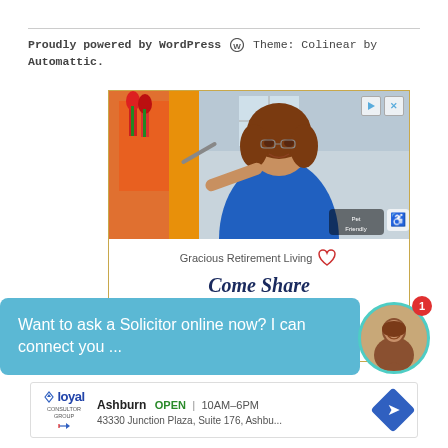Proudly powered by WordPress  Theme: Colinear by Automattic.
[Figure (advertisement): Advertisement for Gracious Retirement Living showing a smiling older woman in a blue shirt painting on a canvas. Text reads 'Gracious Retirement Living' with a red heart logo, and 'Come Share Our Enthusiasm.' in bold italic navy text.]
Want to ask a Solicitor online now? I can connect you ...
[Figure (advertisement): Bottom advertisement showing Loyal logo with Ashburn location, OPEN 10AM–6PM, address 43330 Junction Plaza, Suite 176, Ashbu... with a blue navigation diamond arrow icon.]